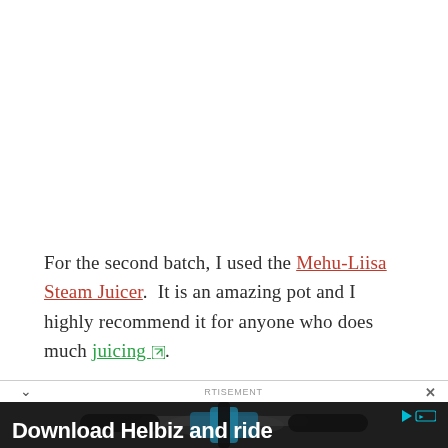For the second batch, I used the Mehu-Liisa Steam Juicer.  It is an amazing pot and I highly recommend it for anyone who does much juicing.
[Figure (other): Advertisement banner showing bicycle handlebars with text 'Download Helbiz and ride']